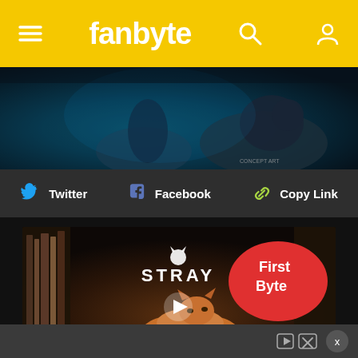fanbyte
[Figure (photo): Dark fantasy scene with a figure and a large wolf or bear creature in blue/teal lighting]
Twitter   Facebook   Copy Link
[Figure (screenshot): Stray video game thumbnail with a cat lying down, Stray logo, and First Byte badge overlay; play button in center]
Ad close button